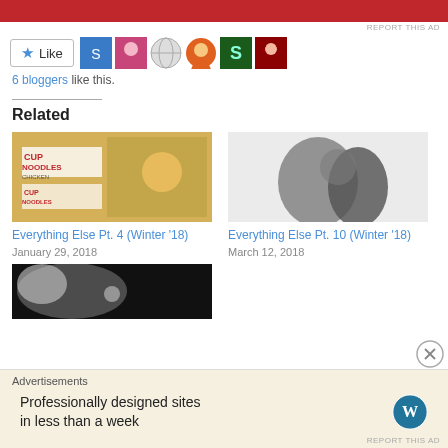[Figure (other): Red advertisement banner at top]
REPORT THIS AD
[Figure (other): Like button with blue star and 6 blogger avatar icons]
6 bloggers like this.
Related
[Figure (photo): Cup Noodles Chicken product packaging with anime characters]
Everything Else Pt. 4 (Winter '18)
January 29, 2018
[Figure (photo): Silhouetted figures in action pose, blurry]
Everything Else Pt. 10 (Winter '18)
March 12, 2018
[Figure (photo): Dark high-contrast blurry image, partial view]
Advertisements
Professionally designed sites in less than a week
REPORT THIS AD